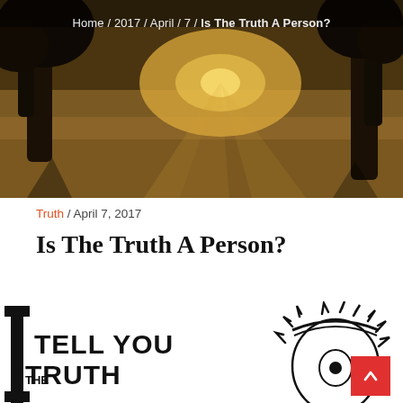[Figure (photo): Outdoor park/field scene at golden hour with large trees silhouetted against warm sunlight, long shadows across grass, breadcrumb navigation overlay at top]
Home / 2017 / April / 7 / Is The Truth A Person?
Truth / April 7, 2017
Is The Truth A Person?
[Figure (illustration): Black and white graphic illustration with large letter 'I' and bold text reading 'I TELL YOU THE TRUTH' with a stylized crown of thorns face drawing on the right side]